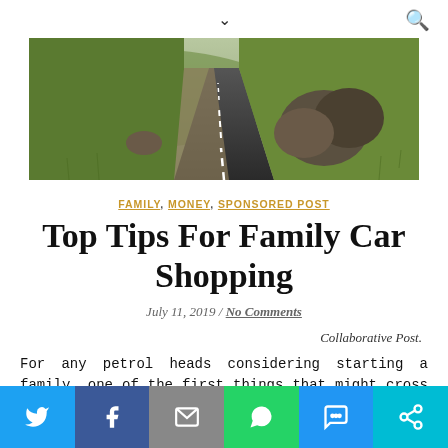∨  🔍
[Figure (photo): Aerial view of a rural road curving through green landscape with rocks and grass on the side]
FAMILY, MONEY, SPONSORED POST
Top Tips For Family Car Shopping
July 11, 2019 / No Comments
Collaborative Post.
For any petrol heads considering starting a family, one of the first things that might cross your mind is the 'family
[Figure (infographic): Social sharing bar with Twitter, Facebook, Email, WhatsApp, SMS, and More buttons]